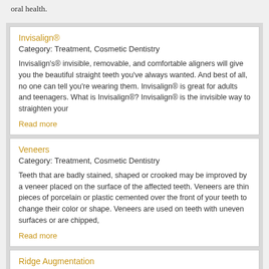oral health.
Invisalign®
Category: Treatment, Cosmetic Dentistry
Invisalign's® invisible, removable, and comfortable aligners will give you the beautiful straight teeth you've always wanted. And best of all, no one can tell you're wearing them. Invisalign® is great for adults and teenagers. What is Invisalign®? Invisalign® is the invisible way to straighten your
Read more
Veneers
Category: Treatment, Cosmetic Dentistry
Teeth that are badly stained, shaped or crooked may be improved by a veneer placed on the surface of the affected teeth. Veneers are thin pieces of porcelain or plastic cemented over the front of your teeth to change their color or shape. Veneers are used on teeth with uneven surfaces or are chipped,
Read more
Ridge Augmentation